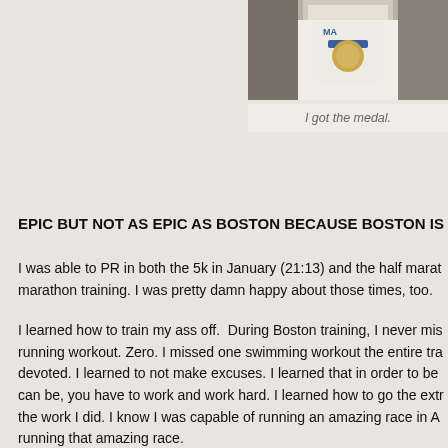[Figure (photo): Person wearing a white shirt with a marathon medal, cropped view showing torso and medal]
I got the medal.
EPIC BUT NOT AS EPIC AS BOSTON BECAUSE BOSTON IS PR
I was able to PR in both the 5k in January (21:13) and the half marat marathon training. I was pretty damn happy about those times, too.
I learned how to train my ass off.  During Boston training, I never mis running workout. Zero. I missed one swimming workout the entire tra devoted. I learned to not make excuses. I learned that in order to be can be, you have to work and work hard. I learned how to go the extr the work I did. I know I was capable of running an amazing race in A running that amazing race.
Beach 2 Battleship 70.3 – 6:03      I learned about being a triathlete. a while, let it whisper sweet nothings into my ear, then kicked it's ass did before, I learned how to open water swim, I learned how to ride r and I learned how to run after swimming and biking. It was epic. And